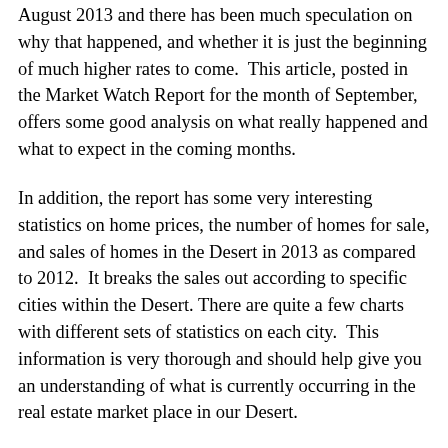August 2013 and there has been much speculation on why that happened, and whether it is just the beginning of much higher rates to come.  This article, posted in the Market Watch Report for the month of September, offers some good analysis on what really happened and what to expect in the coming months.
In addition, the report has some very interesting statistics on home prices, the number of homes for sale, and sales of homes in the Desert in 2013 as compared to 2012.  It breaks the sales out according to specific cities within the Desert. There are quite a few charts with different sets of statistics on each city.  This information is very thorough and should help give you an understanding of what is currently occurring in the real estate market place in our Desert.
Please contact me or leave comments below with any questions/comments you have about our local market. I